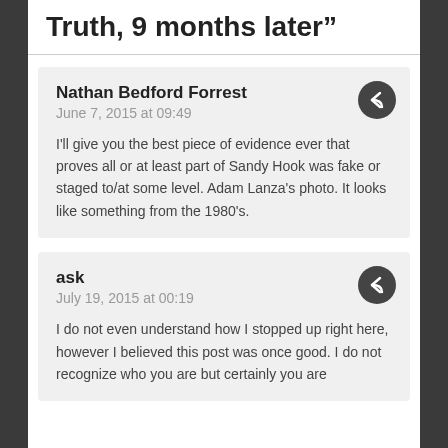Truth, 9 months later"
Nathan Bedford Forrest
June 7, 2015 at 09:49

I'll give you the best piece of evidence ever that proves all or at least part of Sandy Hook was fake or staged to/at some level. Adam Lanza's photo. It looks like something from the 1980's.
ask
July 19, 2015 at 00:19

I do not even understand how I stopped up right here, however I believed this post was once good. I do not recognize who you are but certainly you are